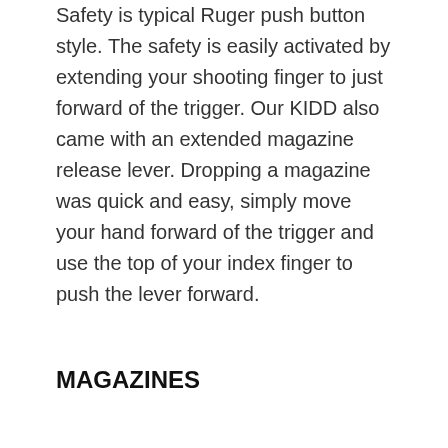Safety is typical Ruger push button style. The safety is easily activated by extending your shooting finger to just forward of the trigger. Our KIDD also came with an extended magazine release lever. Dropping a magazine was quick and easy, simply move your hand forward of the trigger and use the top of your index finger to push the lever forward.
MAGAZINES
Our KIDD accepted all types of 10/22 mags we had on hand and fed rounds without issue. Again make sure you use quality Ruger factory